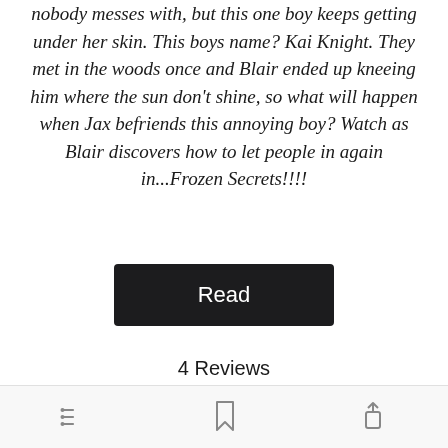nobody messes with, but this one boy keeps getting under her skin. This boys name? Kai Knight. They met in the woods once and Blair ended up kneeing him where the sun don't shine, so what will happen when Jax befriends this annoying boy? Watch as Blair discovers how to let people in again in...Frozen Secrets!!!!
[Figure (other): Black rectangular Read button]
4 Reviews
[Figure (screenshot): Review card with Open in app green button and Frozen secrets title]
Bottom navigation bar with list, bookmark, and share icons